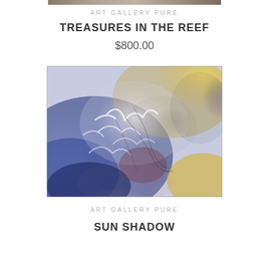[Figure (illustration): Top cropped portion of an artwork painting, partially visible as a strip at top]
ART GALLERY PURE
TREASURES IN THE REEF
$800.00
[Figure (photo): Abstract painting with swirling blues, yellows, whites, and purple hues suggesting an underwater or atmospheric scene — titled Sun Shadow]
ART GALLERY PURE
SUN SHADOW